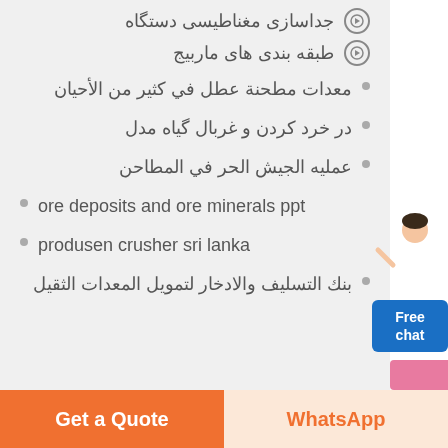جداسازی مغناطیسی دستگاه
طبقه بندی های ماربیج
معدات مطحنة عطل في كثير من الأحيان
در خرد کردن و غربال گیاه مدل
عمليه الجيش الحر في المطاحن
ore deposits and ore minerals ppt
produsen crusher sri lanka
بنك التسليف والادخار لتمويل المعدات الثقيل